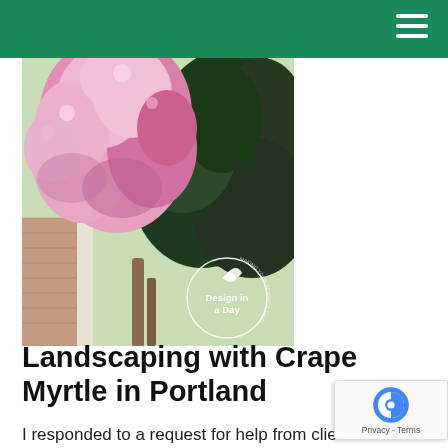[Figure (photo): A crape myrtle tree in full bloom with abundant pink/lavender flowers, photographed in a residential Portland yard. A 'Design in a Day' circular logo watermark is visible in the lower-right area of the photo.]
Landscaping with Crape Myrtle in Portland
I responded to a request for help from clients in Northeast Portland who were concerned their crape myrtle trees planted two years ago were not healthy because they didn't flower. They had done their research on crape myrtle but